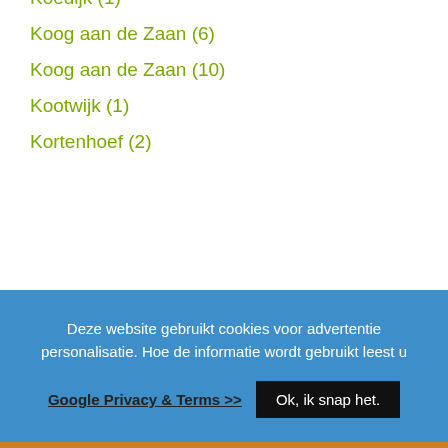Koedijk (1)
Koog aan de Zaan (6)
Koog aan de Zaan (10)
Kootwijk (1)
Kortenhoef (2)
Deze website gebruikt cookies voor advertentie personalisatie. Hoe de informatie wordt gebruikt leest u
Google Privacy & Terms >>
Ok, ik snap het.
Koudekerke (1)
Krabbendijke (2)
Krabbendijke (1)
Kralingen-Crooswijk (2)
Bel voor info ->